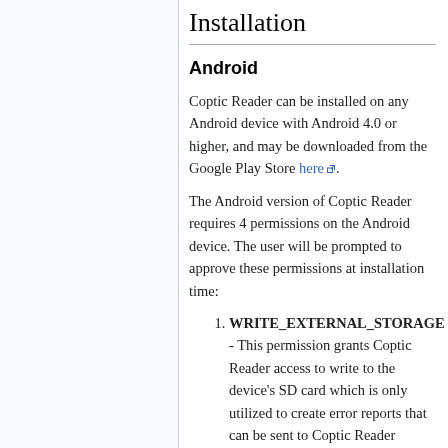Installation
Android
Coptic Reader can be installed on any Android device with Android 4.0 or higher, and may be downloaded from the Google Play Store here.
The Android version of Coptic Reader requires 4 permissions on the Android device. The user will be prompted to approve these permissions at installation time:
WRITE_EXTERNAL_STORAGE - This permission grants Coptic Reader access to write to the device's SD card which is only utilized to create error reports that can be sent to Coptic Reader developers. These reports are